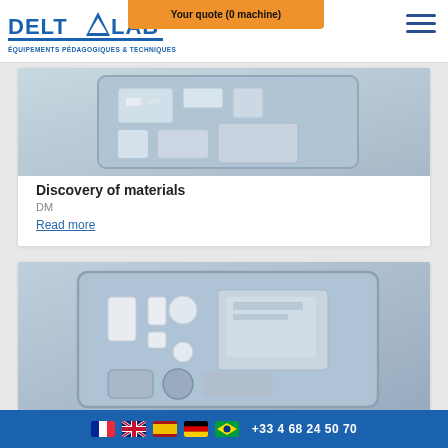DELTALAB - ÉQUIPEMENTS PÉDAGOGIQUES & TECHNIQUES | Your quote (0 machine)
[Figure (photo): Product photo of a materials discovery kit in a case, partially visible at top]
Discovery of materials
DM
Read more
[Figure (photo): Product photo of a materials kit with white sample pieces in a blue tray case]
+33 4 68 24 50 70